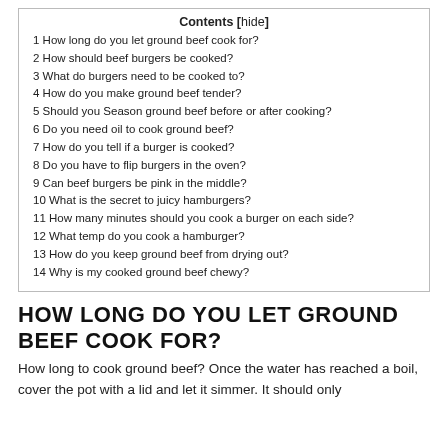| Contents [hide] |
| --- |
| 1 How long do you let ground beef cook for? |
| 2 How should beef burgers be cooked? |
| 3 What do burgers need to be cooked to? |
| 4 How do you make ground beef tender? |
| 5 Should you Season ground beef before or after cooking? |
| 6 Do you need oil to cook ground beef? |
| 7 How do you tell if a burger is cooked? |
| 8 Do you have to flip burgers in the oven? |
| 9 Can beef burgers be pink in the middle? |
| 10 What is the secret to juicy hamburgers? |
| 11 How many minutes should you cook a burger on each side? |
| 12 What temp do you cook a hamburger? |
| 13 How do you keep ground beef from drying out? |
| 14 Why is my cooked ground beef chewy? |
HOW LONG DO YOU LET GROUND BEEF COOK FOR?
How long to cook ground beef? Once the water has reached a boil, cover the pot with a lid and let it simmer. It should only